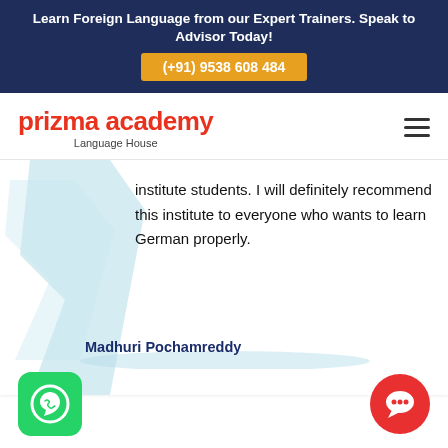Learn Foreign Language from our Expert Trainers. Speak to Advisor Today! (+91) 9538 608 484
[Figure (logo): Prizma Academy Language House logo in red text with hamburger menu icon on right]
institute students. I will definitely recommend this institute to everyone who wants to learn German properly.
Madhuri Pochamreddy
[Figure (illustration): WhatsApp button icon (green rounded square with white phone handset) at bottom left]
[Figure (illustration): Red circular chat button at bottom right]